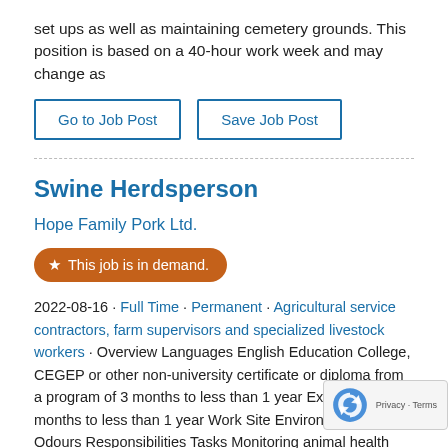set ups as well as maintaining cemetery grounds. This position is based on a 40-hour work week and may change as
Go to Job Post | Save Job Post
Swine Herdsperson
Hope Family Pork Ltd.
This job is in demand.
2022-08-16 · Full Time · Permanent · Agricultural service contractors, farm supervisors and specialized livestock workers · Overview Languages English Education College, CEGEP or other non-university certificate or diploma from a program of 3 months to less than 1 year Experience 7 months to less than 1 year Work Site Environment No Odours Responsibilities Tasks Monitoring animal health